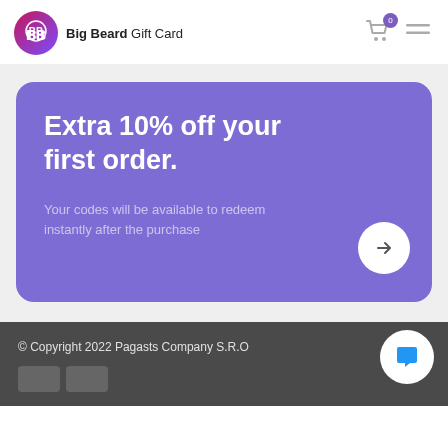Big Beard Gift Card
Extra 10% off your first order.
Your codes will be available to redeem instantly after the purchase
© Copyright 2022 Pagasts Company S.R.O